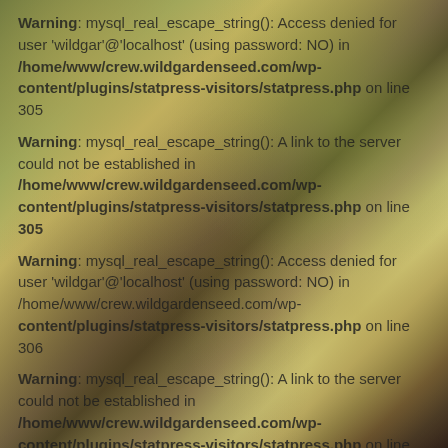[Figure (photo): Close-up photograph of various dried seed pods, okra pods, and garlic bulbs in muted green, yellow, and brown tones, serving as background behind PHP warning error messages.]
Warning: mysql_real_escape_string(): Access denied for user 'wildgar'@'localhost' (using password: NO) in /home/www/crew.wildgardenseed.com/wp-content/plugins/statpress-visitors/statpress.php on line 305
Warning: mysql_real_escape_string(): A link to the server could not be established in /home/www/crew.wildgardenseed.com/wp-content/plugins/statpress-visitors/statpress.php on line 305
Warning: mysql_real_escape_string(): Access denied for user 'wildgar'@'localhost' (using password: NO) in /home/www/crew.wildgardenseed.com/wp-content/plugins/statpress-visitors/statpress.php on line 306
Warning: mysql_real_escape_string(): A link to the server could not be established in /home/www/crew.wildgardenseed.com/wp-content/plugins/statpress-visitors/statpress.php on line 306
Warning: mysql_real_escape_string(): Access denied for user 'wildgar'@'localhost' (using password: NO) in